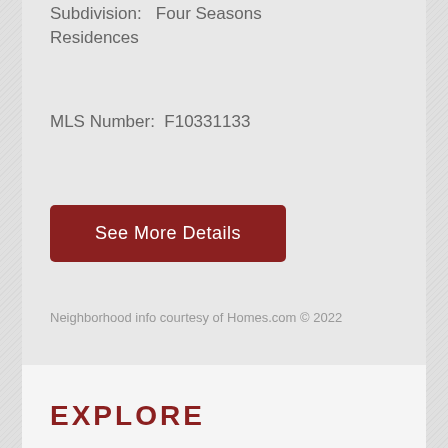County:  Broward
Subdivision:  Four Seasons Residences
MLS Number:  F10331133
See More Details
Neighborhood info courtesy of Homes.com © 2022
EXPLORE